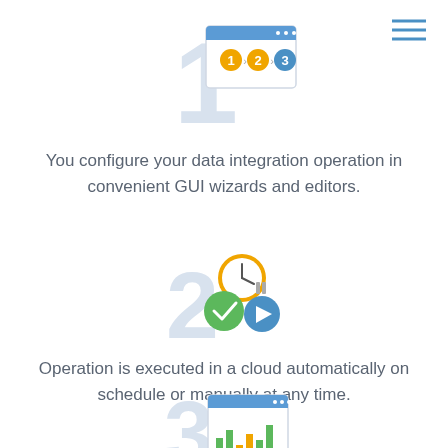[Figure (illustration): Large light-blue number 1 with a browser/wizard window icon overlaid showing steps 1, 2, 3 connected by arrows]
You configure your data integration operation in convenient GUI wizards and editors.
[Figure (illustration): Large light-blue number 2 with three overlapping circles: an orange clock, a green checkmark, and a blue play button]
Operation is executed in a cloud automatically on schedule or manually at any time.
[Figure (illustration): Large light-blue number 3 (partially visible) with a browser window showing a bar chart]